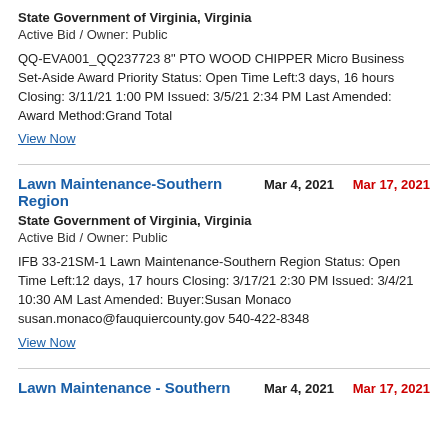State Government of Virginia, Virginia
Active Bid / Owner: Public
QQ-EVA001_QQ237723 8" PTO WOOD CHIPPER Micro Business Set-Aside Award Priority Status: Open Time Left:3 days, 16 hours Closing: 3/11/21 1:00 PM Issued: 3/5/21 2:34 PM Last Amended: Award Method:Grand Total
View Now
Lawn Maintenance-Southern Region
Mar 4, 2021
Mar 17, 2021
State Government of Virginia, Virginia
Active Bid / Owner: Public
IFB 33-21SM-1 Lawn Maintenance-Southern Region Status: Open Time Left:12 days, 17 hours Closing: 3/17/21 2:30 PM Issued: 3/4/21 10:30 AM Last Amended: Buyer:Susan Monaco susan.monaco@fauquiercounty.gov 540-422-8348
View Now
Lawn Maintenance - Southern
Mar 4, 2021
Mar 17, 2021